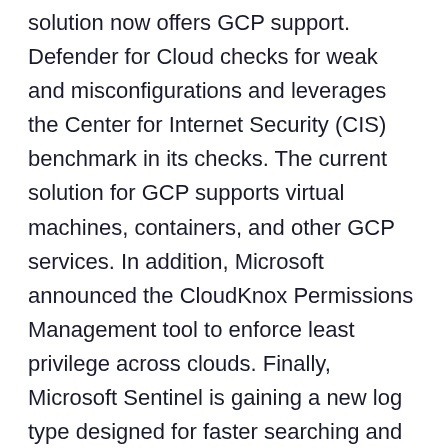solution now offers GCP support. Defender for Cloud checks for weak and misconfigurations and leverages the Center for Internet Security (CIS) benchmark in its checks. The current solution for GCP supports virtual machines, containers, and other GCP services. In addition, Microsoft announced the CloudKnox Permissions Management tool to enforce least privilege across clouds. Finally, Microsoft Sentinel is gaining a new log type designed for faster searching and longer-term retention extending retention from 2 years to 7 years. More information and details on each of these announcements can be found here